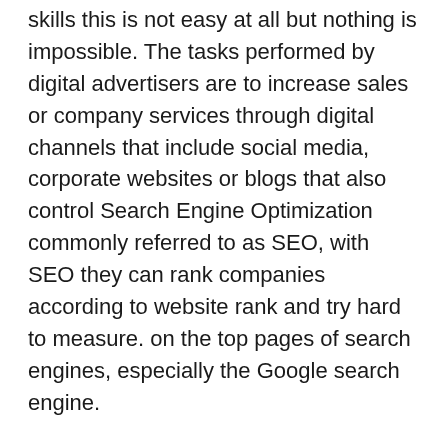skills this is not easy at all but nothing is impossible. The tasks performed by digital advertisers are to increase sales or company services through digital channels that include social media, corporate websites or blogs that also control Search Engine Optimization commonly referred to as SEO, with SEO they can rank companies according to website rank and try hard to measure. on the top pages of search engines, especially the Google search engine.
Other aspects of the work of digital advertisers are email marketing and ad management by the company. In writing emails they send sales emails to the people of the company they work for, the purpose of which is to increase sales or corporate services. They also track company-driven ads, analyze them, make them budget-friendly and update them as needed. So this is how digital advertisers and designers make your work easier and increase sales and company services. They are trying to make themselves